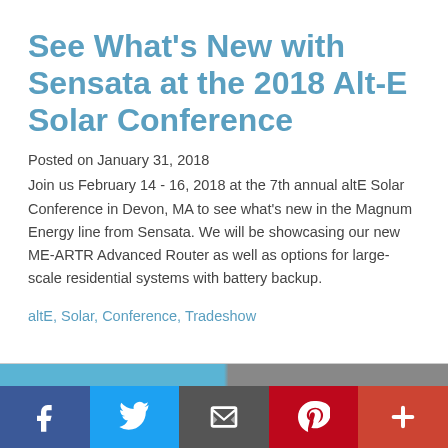See What's New with Sensata at the 2018 Alt-E Solar Conference
Posted on January 31, 2018
Join us February 14 - 16, 2018 at the 7th annual altE Solar Conference in Devon, MA to see what's new in the Magnum Energy line from Sensata. We will be showcasing our new ME-ARTR Advanced Router as well as options for large-scale residential systems with battery backup.
altE, Solar, Conference, Tradeshow
[Figure (photo): Partial view of a photo strip at the bottom of the article]
Social share bar: Facebook, Twitter, Email, Pinterest, More